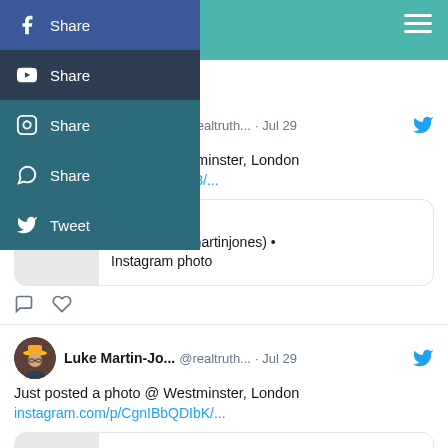[Figure (screenshot): Social media share panel with Facebook Share, YouTube Share, Instagram Share, WhatsApp Share, and Twitter Tweet buttons on teal background]
Luke Martin-Jo... @realtruth... · Jul 29
Just posted a photo @ Westminster, London
instagram.com/p/CgnISNOjfz3/...
instagram.com
Luke (@lukemartinjones) • Instagram photo
Luke Martin-Jo... @realtruth... · Jul 29
Just posted a photo @ Westminster, London
instagram.com/p/CgnIBbQDIbK/...
instagram.com
Luke (@lukemartinjones) • Instagram photo